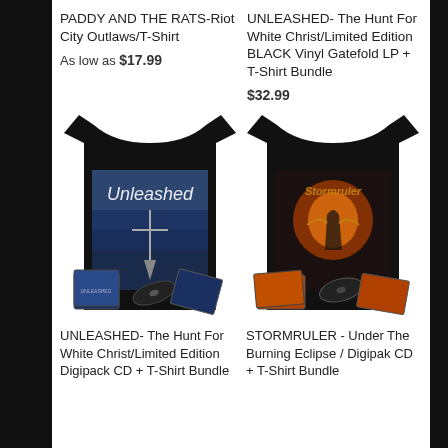PADDY AND THE RATS-Riot City Outlaws/T-Shirt
As low as $17.99
UNLEASHED- The Hunt For White Christ/Limited Edition BLACK Vinyl Gatefold LP + T-Shirt Bundle
$32.99
[Figure (photo): Unleashed band t-shirt (black, with album art) and album CD/digipak product bundle]
[Figure (photo): Stormruler band t-shirt (black, with fiery album art) and Digipak CD product bundle]
UNLEASHED- The Hunt For White Christ/Limited Edition Digipack CD + T-Shirt Bundle
STORMRULER - Under The Burning Eclipse / Digipak CD + T-Shirt Bundle